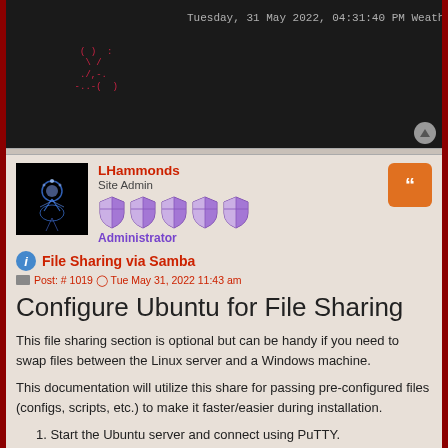[Figure (screenshot): Terminal/command-line screenshot showing ASCII art mascot on dark background with system info: Tuesday, 31 May 2022, 04:31:40 PM; Weather: 94°F, Mostly Sunny; Internal IP: 192.168.107.2/24; External IP: 8.8.8.0; Uptime: up 4 days, 22 hours, 53 minutes]
LHammonds
Site Admin
Administrator
File Sharing via Samba
Post: # 1019  Tue May 31, 2022 11:43 am
Configure Ubuntu for File Sharing
This file sharing section is optional but can be handy if you need to swap files between the Linux server and a Windows machine.
This documentation will utilize this share for passing pre-configured files (configs, scripts, etc.) to make it faster/easier during installation.
Start the Ubuntu server and connect using PuTTY.
At the login prompt, login with your administrator account (administrator / myadminpass)
Install Samba by typing the following: